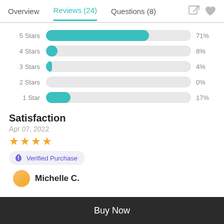Overview   Reviews (24)   Questions (8)
[Figure (bar-chart): Star Ratings Distribution]
Satisfaction
Apr 07, 2022
★★★★
Verified Purchase
Michelle C.
Buy Now